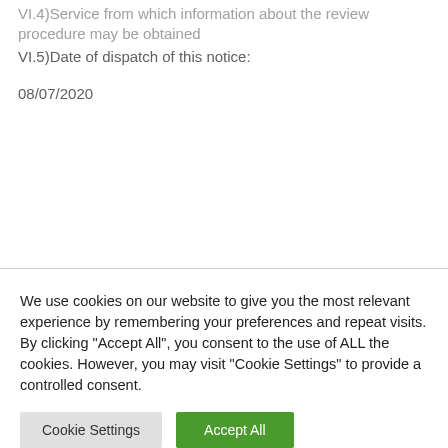VI.4)Service from which information about the review procedure may be obtained
VI.5)Date of dispatch of this notice:
08/07/2020
We use cookies on our website to give you the most relevant experience by remembering your preferences and repeat visits. By clicking "Accept All", you consent to the use of ALL the cookies. However, you may visit "Cookie Settings" to provide a controlled consent.